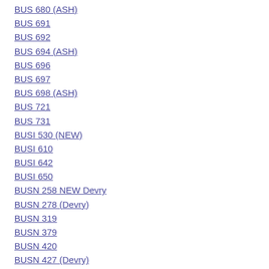BUS 680 (ASH)
BUS 691
BUS 692
BUS 694 (ASH)
BUS 696
BUS 697
BUS 698 (ASH)
BUS 721
BUS 731
BUSI 530 (NEW)
BUSI 610
BUSI 642
BUSI 650
BUSN 258 NEW Devry
BUSN 278 (Devry)
BUSN 319
BUSN 379
BUSN 420
BUSN 427 (Devry)